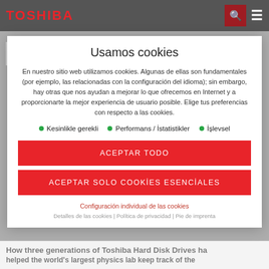TOSHIBA
Usamos cookies
En nuestro sitio web utilizamos cookies. Algunas de ellas son fundamentales (por ejemplo, las relacionadas con la configuración del idioma); sin embargo, hay otras que nos ayudan a mejorar lo que ofrecemos en Internet y a proporcionarte la mejor experiencia de usuario posible. Elige tus preferencias con respecto a las cookies.
Kesinlikle gerekli
Performans / İstatistikler
İşlevsel
ACEPTAR TODO
ACEPTAR SOLO COOKİES ESENCİALES
Configuración individual de las cookies
Detalles de las cookies | Política de privacidad | Pie de imprenta
How three generations of Toshiba Hard Disk Drives ha
helped the world's largest physics lab keep track of the